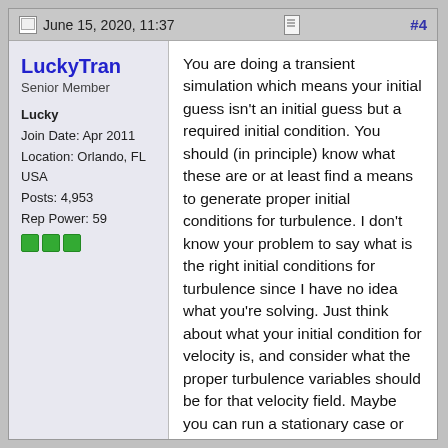June 15, 2020, 11:37   #4
LuckyTran
Senior Member

Lucky
Join Date: Apr 2011
Location: Orlando, FL USA
Posts: 4,953
Rep Power: 59
You are doing a transient simulation which means your initial guess isn't an initial guess but a required initial condition. You should (in principle) know what these are or at least find a means to generate proper initial conditions for turbulence. I don't know your problem to say what is the right initial conditions for turbulence since I have no idea what you're solving. Just think about what your initial condition for velocity is, and consider what the proper turbulence variables should be for that velocity field. Maybe you can run a stationary case or steady case with that flow to get the turbulence variables.
You need to know your boundary conditions and initial conditions before your problem is even well defined. If you don't know what that BC's are, you are just doing